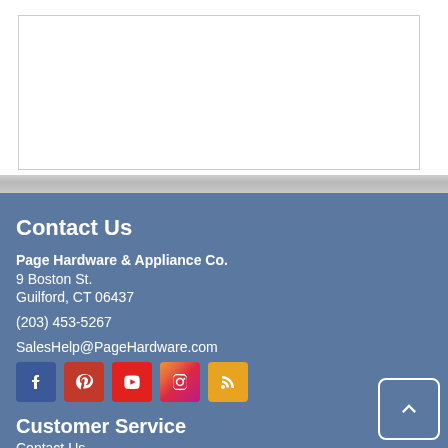Contact Us
Page Hardware & Appliance Co.
9 Boston St.
Guilford, CT 06437
(203) 453-5267
SalesHelp@PageHardware.com
[Figure (infographic): Social media icons: Facebook, Pinterest, YouTube, Instagram, RSS]
Customer Service
Contact Us